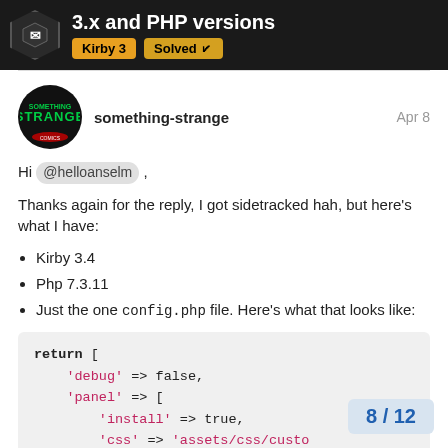3.x and PHP versions | Kirby 3 | Solved
something-strange — Apr 8
Hi @helloanselm,

Thanks again for the reply, I got sidetracked hah, but here's what I have:
Kirby 3.4
Php 7.3.11
Just the one config.php file. Here's what that looks like:
return [
    'debug' => false,
    'panel' => [
        'install' => true,
        'css' => 'assets/css/custo
    ],
8 / 12